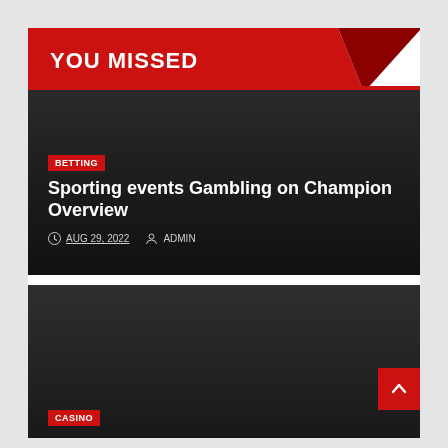YOU MISSED
[Figure (other): Dark article card with BETTING badge and article title]
Sporting events Gambling on Champion Overview
AUG 29, 2022  ADMIN
[Figure (other): Dark article card with CASINO badge, partially visible]